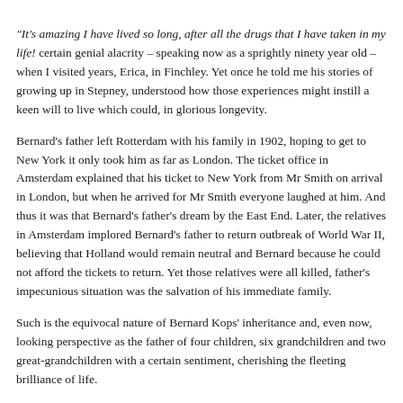“It’s amazing I have lived so long, after all the drugs that I have taken in my life!” certain genial alacrity – speaking now as a sprightly ninety year old – when I visited years, Erica, in Finchley. Yet once he told me his stories of growing up in Stepney, understood how those experiences might instill a keen will to live which could, in glorious longevity.
Bernard’s father left Rotterdam with his family in 1902, hoping to get to New York, it only took him as far as London. The ticket office in Amsterdam explained that his ticket to New York from Mr Smith on arrival in London, but when he arrived for Mr Smith everyone laughed at him. And thus it was that Bernard’s father’s dream by the East End. Later, the relatives in Amsterdam implored Bernard’s father to return outbreak of World War II, believing that Holland would remain neutral and Bernard because he could not afford the tickets to return. Yet those relatives were all killed, father’s impecunious situation was the salvation of his immediate family.
Such is the equivocal nature of Bernard Kops’ inheritance and, even now, looking perspective as the father of four children, six grandchildren and two great-grandchildren with a certain sentiment, cherishing the fleeting brilliance of life.
“I couldn’t have done anything without Erica,” he assured me last week, prefacing visited him in the Victorian apartment block in Finchley where he has lived for the